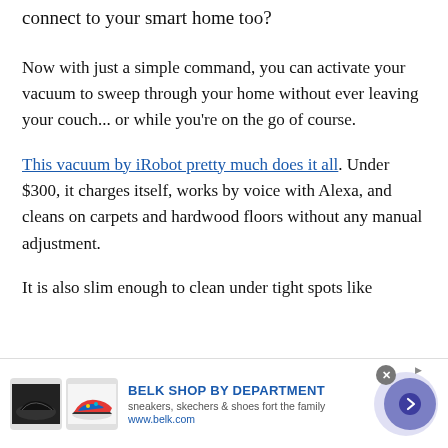connect to your smart home too?
Now with just a simple command, you can activate your vacuum to sweep through your home without ever leaving your couch... or while you're on the go of course.
This vacuum by iRobot pretty much does it all. Under $300, it charges itself, works by voice with Alexa, and cleans on carpets and hardwood floors without any manual adjustment.
It is also slim enough to clean under tight spots like
[Figure (other): Advertisement banner for Belk Shop by Department featuring shoe images, text 'sneakers, skechers & shoes fort the family', URL www.belk.com, a close button, and a navigation arrow button]